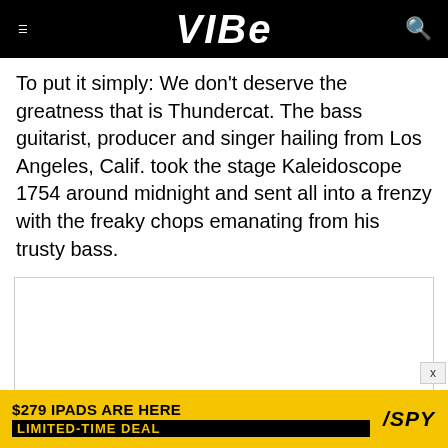VIBE
To put it simply: We don’t deserve the greatness that is Thundercat. The bass guitarist, producer and singer hailing from Los Angeles, Calif. took the stage Kaleidoscope 1754 around midnight and sent all into a frenzy with the freaky chops emanating from his trusty bass.
[Figure (other): Advertisement placeholder box with white background and border]
[Figure (other): Bottom advertisement banner: $279 IPADS ARE HERE LIMITED-TIME DEAL with SPY logo on yellow background]